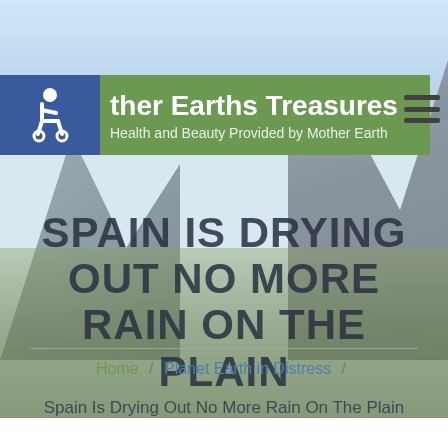[Figure (photo): Background landscape photo showing mountains and vegetation with light blue sky, used as a website hero background image]
ther Earths Treasures
Health and Beauty Provided by Mother Earth
SPAIN IS DRYING OUT NO MORE RAIN ON THE PLAIN
Home / Planet Earth in Distress / Spain Is Drying Out No More Rain On The Plain